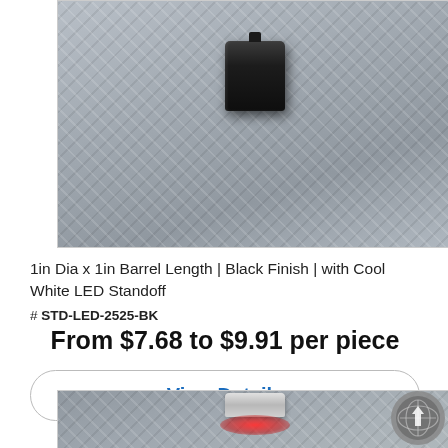[Figure (photo): Black cylindrical LED standoff mounted on diamond plate metal surface, viewed from above]
1in Dia x 1in Barrel Length | Black Finish | with Cool White LED Standoff
# STD-LED-2525-BK
From $7.68 to $9.91 per piece
View Details
[Figure (photo): Silver/chrome cylindrical LED standoff with red LED glow on diamond plate metal surface, partially visible at bottom of page]